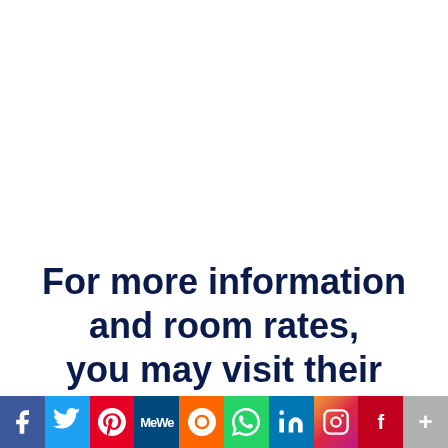For more information and room rates, you may visit their website:
http://thefunnylion.com/
[Figure (infographic): Social media sharing bar with icons: Facebook, Twitter, Pinterest, MeWe, Mix, WhatsApp, LinkedIn, Instagram, Flipboard, More]